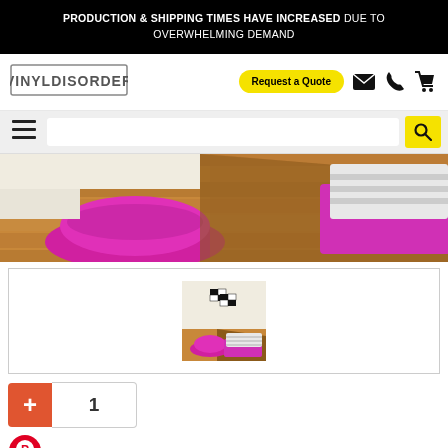PRODUCTION & SHIPPING TIMES HAVE INCREASED DUE TO OVERWHELMING DEMAND
[Figure (logo): VinylDisorder logo — stylized grunge text in a border]
Request a Quote
[Figure (screenshot): Navigation bar with email, phone, and shopping cart icons]
[Figure (screenshot): Hamburger menu icon and search input bar with yellow search button]
[Figure (photo): Main product photo: room scene with pink/magenta poufs and cushions on wooden floor]
[Figure (photo): Thumbnail image of racing flags wall decal in a room with pink/magenta poufs]
1
[Figure (illustration): Pinterest share icon (red circle with P)]